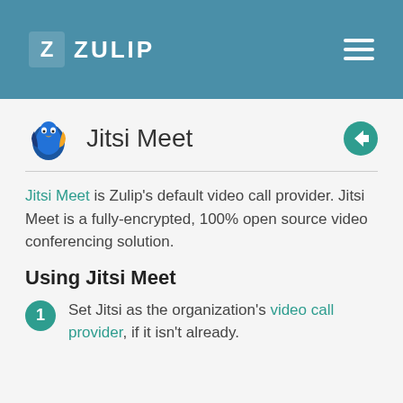ZULIP
Jitsi Meet
Jitsi Meet is Zulip's default video call provider. Jitsi Meet is a fully-encrypted, 100% open source video conferencing solution.
Using Jitsi Meet
Set Jitsi as the organization's video call provider, if it isn't already.